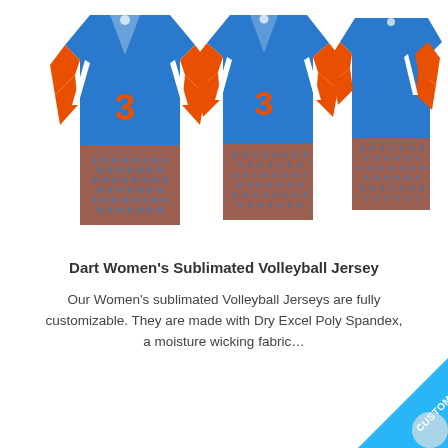[Figure (illustration): Three views of a blue and orange sublimated long-sleeve women's volleyball jersey with number 3 on front. Front view (left), front-facing slightly angled view (center), and back/side view (right). Jersey features blue body with orange and white chevron/arrow designs and halftone dot pattern on lower portion.]
Dart Women's Sublimated Volleyball Jersey
Our Women's sublimated Volleyball Jerseys are fully customizable. They are made with Dry Excel Poly Spandex, a moisture wicking fabric...
[Figure (illustration): Customize badge/ribbon in blue diagonal at bottom right corner with white text reading CUSTOMIZE]